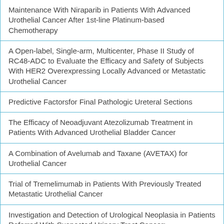| Maintenance With Niraparib in Patients With Advanced Urothelial Cancer After 1st-line Platinum-based Chemotherapy |
| A Open-label, Single-arm, Multicenter, Phase II Study of RC48-ADC to Evaluate the Efficacy and Safety of Subjects With HER2 Overexpressing Locally Advanced or Metastatic Urothelial Cancer |
| Predictive Factorsfor Final Pathologic Ureteral Sections |
| The Efficacy of Neoadjuvant Atezolizumab Treatment in Patients With Advanced Urothelial Bladder Cancer |
| A Combination of Avelumab and Taxane (AVETAX) for Urothelial Cancer |
| Trial of Tremelimumab in Patients With Previously Treated Metastatic Urothelial Cancer |
| Investigation and Detection of Urological Neoplasia in Patients Referred With Suspected Urinary Tract Cancer: |